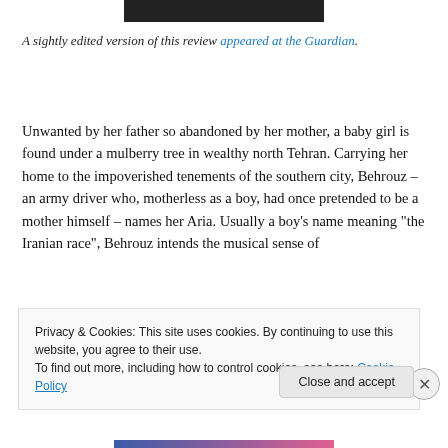[Figure (other): Dark rectangular banner/image at the top center of the page]
A sightly edited version of this review appeared at the Guardian.
Unwanted by her father so abandoned by her mother, a baby girl is found under a mulberry tree in wealthy north Tehran. Carrying her home to the impoverished tenements of the southern city, Behrouz – an army driver who, motherless as a boy, had once pretended to be a mother himself – names her Aria. Usually a boy’s name meaning “the Iranian race”, Behrouz intends the musical sense of
Privacy & Cookies: This site uses cookies. By continuing to use this website, you agree to their use.
To find out more, including how to control cookies, see here: Cookie Policy
Close and accept